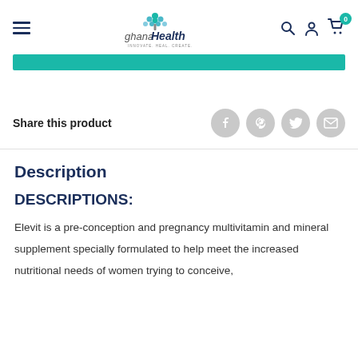ghanaHealth
[Figure (other): Teal horizontal bar/banner element]
Share this product
[Figure (other): Social share icons: Facebook, Pinterest, Twitter, Email]
Description
DESCRIPTIONS:
Elevit is a pre-conception and pregnancy multivitamin and mineral supplement specially formulated to help meet the increased nutritional needs of women trying to conceive,